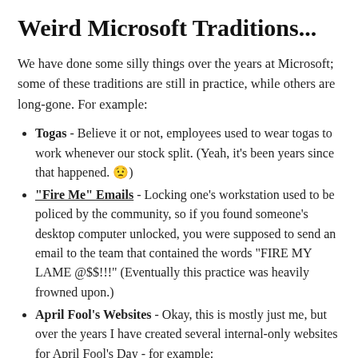Weird Microsoft Traditions...
We have done some silly things over the years at Microsoft; some of these traditions are still in practice, while others are long-gone. For example:
Togas - Believe it or not, employees used to wear togas to work whenever our stock split. (Yeah, it's been years since that happened. 😟)
"Fire Me" Emails - Locking one's workstation used to be policed by the community, so if you found someone's desktop computer unlocked, you were supposed to send an email to the team that contained the words "FIRE MY LAME @$$!!!" (Eventually this practice was heavily frowned upon.)
April Fool's Websites - Okay, this is mostly just me, but over the years I have created several internal-only websites for April Fool's Day - for example:
People for the Ethical Treatment of Software (PETS) - this was a take off on PETA that was